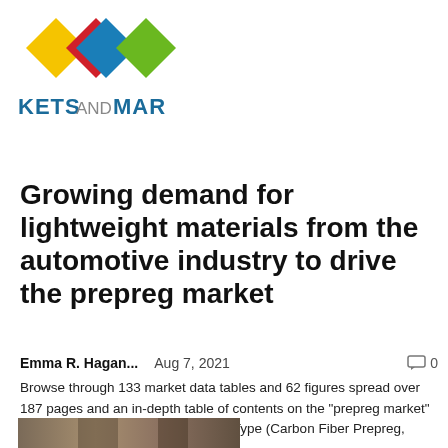[Figure (logo): MarketsandMarkets logo with four colored diamond shapes (yellow, red, blue, green) and the brand name text]
Growing demand for lightweight materials from the automotive industry to drive the prepreg market
Emma R. Hagan...   Aug 7, 2021   💬 0
Browse through 133 market data tables and 62 figures spread over 187 pages and an in-depth table of contents on the "prepreg market" Prepregs Market by Reinforcement Type (Carbon Fiber Prepreg, Fiberglass Prepreg), Resin Type...
[Figure (photo): Partial preview image of a photo at bottom of page]